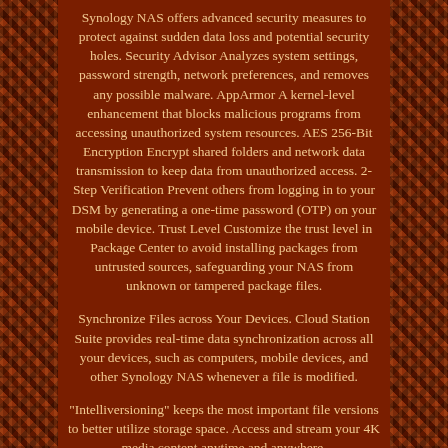Synology NAS offers advanced security measures to protect against sudden data loss and potential security holes. Security Advisor Analyzes system settings, password strength, network preferences, and removes any possible malware. AppArmor A kernel-level enhancement that blocks malicious programs from accessing unauthorized system resources. AES 256-Bit Encryption Encrypt shared folders and network data transmission to keep data from unauthorized access. 2-Step Verification Prevent others from logging in to your DSM by generating a one-time password (OTP) on your mobile device. Trust Level Customize the trust level in Package Center to avoid installing packages from untrusted sources, safeguarding your NAS from unknown or tampered package files.
Synchronize Files across Your Devices. Cloud Station Suite provides real-time data synchronization across all your devices, such as computers, mobile devices, and other Synology NAS whenever a file is modified.
"Intelliversioning" keeps the most important file versions to better utilize storage space. Access and stream your 4K media content anytime and anywhere.